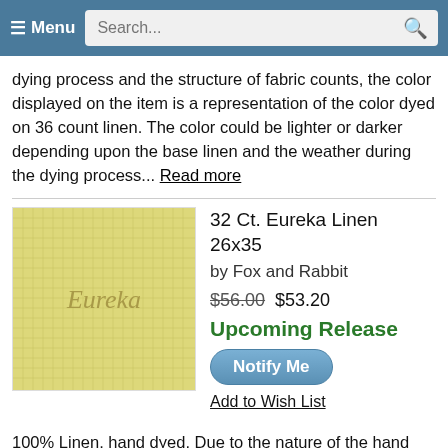Menu  Search...
dying process and the structure of fabric counts, the color displayed on the item is a representation of the color dyed on 36 count linen. The color could be lighter or darker depending upon the base linen and the weather during the dying process... Read more
[Figure (photo): Yellow linen fabric swatch with 'Eureka' written in cursive script]
32 Ct. Eureka Linen 26x35
by Fox and Rabbit
$56.00 $53.20
Upcoming Release
Notify Me
Add to Wish List
100% Linen, hand dyed. Due to the nature of the hand dying process and the structure of fabric counts, the color displayed on the item is a representation of the color dyed on 36 count linen. The color could be lighter